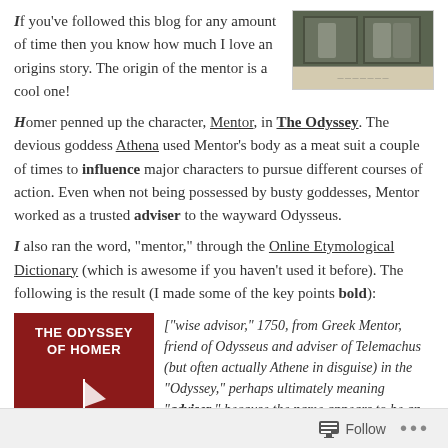If you've followed this blog for any amount of time then you know how much I love an origins story. The origin of the mentor is a cool one!
[Figure (photo): Black and white photograph of a classical figure, possibly ancient Greek art or sculpture]
Homer penned up the character, Mentor, in The Odyssey. The devious goddess Athena used Mentor's body as a meat suit a couple of times to influence major characters to pursue different courses of action. Even when not being possessed by busty goddesses, Mentor worked as a trusted adviser to the wayward Odysseus.
I also ran the word, "mentor," through the Online Etymological Dictionary (which is awesome if you haven't used it before). The following is the result (I made some of the key points bold):
[Figure (photo): Red book cover of The Odyssey of Homer with white boat illustration]
["wise advisor," 1750, from Greek Mentor, friend of Odysseus and adviser of Telemachus (but often actually Athene in disguise) in the "Odyssey," perhaps ultimately meaning "adviser," because the name appears to be an
Follow ...